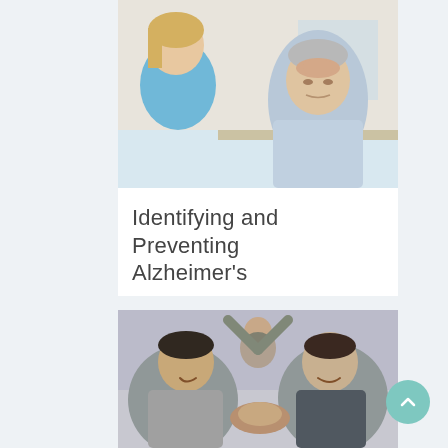[Figure (photo): A healthcare professional in blue scrubs speaking with an elderly man who has his hand on his forehead, appearing distressed or in thought. Indoor setting with plants in the background.]
Identifying and Preventing Alzheimer's
[Figure (photo): Three men arm wrestling and laughing, with one man in the background celebrating with arms raised. The scene appears energetic and joyful.]